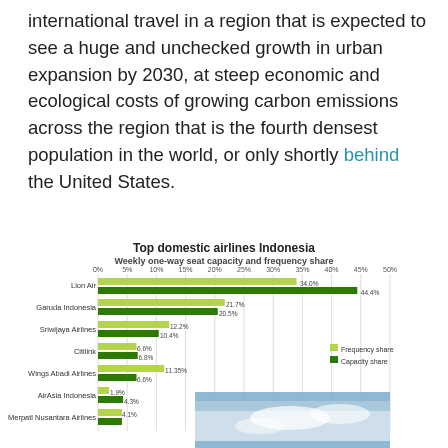international travel in a region that is expected to see a huge and unchecked growth in urban expansion by 2030, at steep economic and ecological costs of growing carbon emissions across the region that is the fourth densest population in the world, or only shortly behind the United States.
[Figure (bar-chart): Top domestic airlines Indonesia]